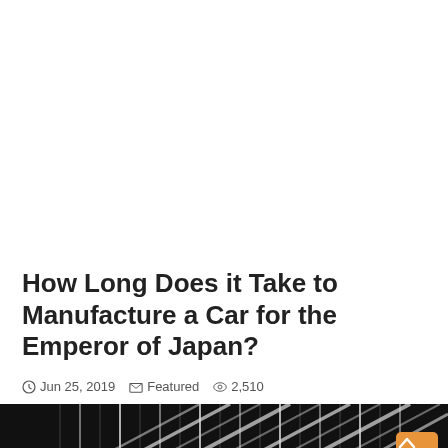How Long Does it Take to Manufacture a Car for the Emperor of Japan?
Jun 25, 2019  Featured  2,510
[Figure (photo): Black and white photograph showing the front of a car with diagonal striped pattern on the hood/bonnet area]